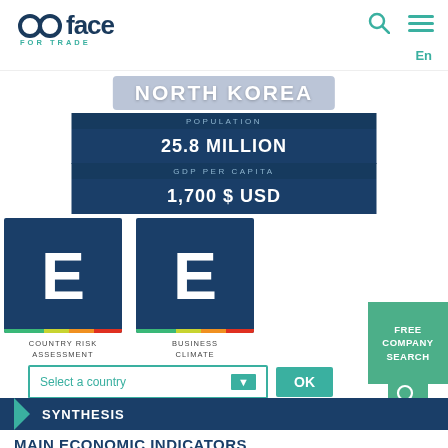[Figure (logo): Coface For Trade logo - dark blue text with circular 'c' and teal 'FOR TRADE' subtitle, with teal search icon and hamburger menu icon on the right, and 'En' language selector]
NORTH KOREA
POPULATION
25.8 MILLION
GDP PER CAPITA
1,700 $ USD
[Figure (infographic): Two dark navy blue rating boxes each showing letter E with a color gradient strip (green-yellow-orange-red) at the bottom. Left box labeled COUNTRY RISK ASSESSMENT, Right box labeled BUSINESS CLIMATE]
COUNTRY RISK ASSESSMENT
BUSINESS CLIMATE
FREE COMPANY SEARCH
Select a country
OK
SYNTHESIS
MAIN ECONOMIC INDICATORS